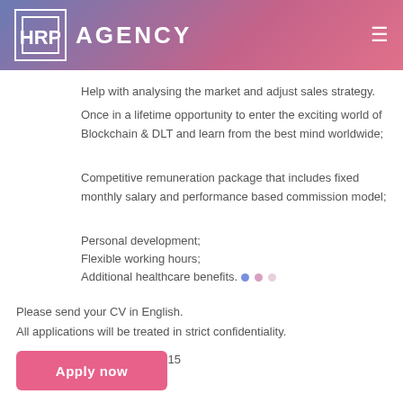HRP AGENCY
Help with analysing the market and adjust sales strategy.
Once in a lifetime opportunity to enter the exciting world of Blockchain & DLT and learn from the best mind worldwide;
Competitive remuneration package that includes fixed monthly salary and performance based commission model;
Personal development;
Flexible working hours;
Additional healthcare benefits.
Please send your CV in English.
All applications will be treated in strict confidentiality.
License #1950 from 20.10.2015